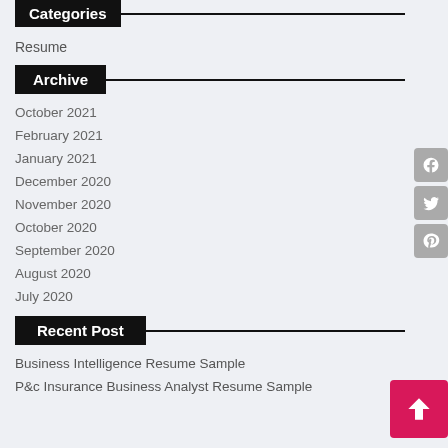Categories
Resume
Archive
October 2021
February 2021
January 2021
December 2020
November 2020
October 2020
September 2020
August 2020
July 2020
Recent Post
Business Intelligence Resume Sample
P&c Insurance Business Analyst Resume Sample